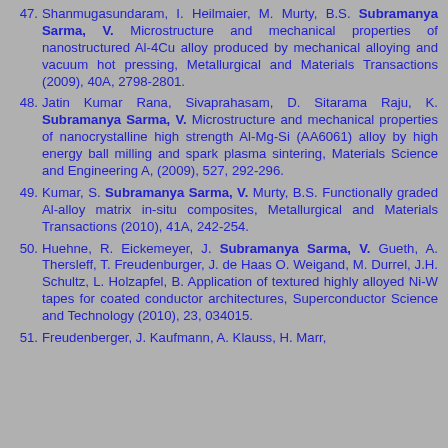47. Shanmugasundaram, I. Heilmaier, M. Murty, B.S. Subramanya Sarma, V. Microstructure and mechanical properties of nanostructured Al-4Cu alloy produced by mechanical alloying and vacuum hot pressing, Metallurgical and Materials Transactions (2009), 40A, 2798-2801.
48. Jatin Kumar Rana, Sivaprahasam, D. Sitarama Raju, K. Subramanya Sarma, V. Microstructure and mechanical properties of nanocrystalline high strength Al-Mg-Si (AA6061) alloy by high energy ball milling and spark plasma sintering, Materials Science and Engineering A, (2009), 527, 292-296.
49. Kumar, S. Subramanya Sarma, V. Murty, B.S. Functionally graded Al-alloy matrix in-situ composites, Metallurgical and Materials Transactions (2010), 41A, 242-254.
50. Huehne, R. Eickemeyer, J. Subramanya Sarma, V. Gueth, A. Thersleff, T. Freudenburger, J. de Haas O. Weigand, M. Durrel, J.H. Schultz, L. Holzapfel, B. Application of textured highly alloyed Ni-W tapes for coated conductor architectures, Superconductor Science and Technology (2010), 23, 034015.
51. Freudenberger, J. Kaufmann, A. Klauss, H. Marr,